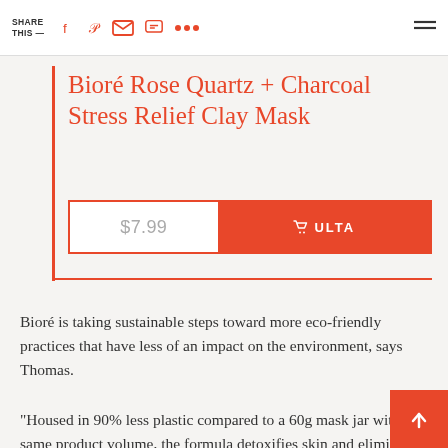SHARE THIS —  [social icons: Facebook, Pinterest, Email, SMS, More, Menu]
Bioré Rose Quartz + Charcoal Stress Relief Clay Mask
$7.99  🛒 ULTA
Bioré is taking sustainable steps toward more eco-friendly practices that have less of an impact on the environment, says Thomas.
"Housed in 90% less plastic compared to a 60g mask jar with the same product volume, the formula detoxifies skin and eliminates impurities, showing love to your skin and to the planet," she added.